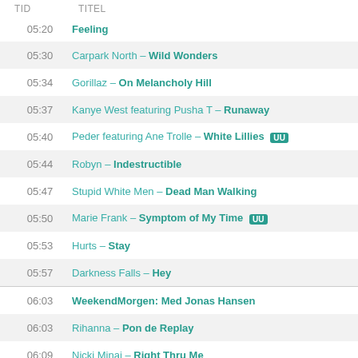TID   TITEL
05:20   Feeling
05:30   Carpark North – Wild Wonders
05:34   Gorillaz – On Melancholy Hill
05:37   Kanye West featuring Pusha T – Runaway
05:40   Peder featuring Ane Trolle – White Lillies UU
05:44   Robyn – Indestructible
05:47   Stupid White Men – Dead Man Walking
05:50   Marie Frank – Symptom of My Time UU
05:53   Hurts – Stay
05:57   Darkness Falls – Hey
06:03   WeekendMorgen: Med Jonas Hansen
06:03   Rihanna – Pon de Replay
06:09   Nicki Minaj – Right Thru Me
06:13   Nordstrøm – Berlin UU
06:19   Le Kid – We Should Go Together
06:23   Lucy Love – Who You Are